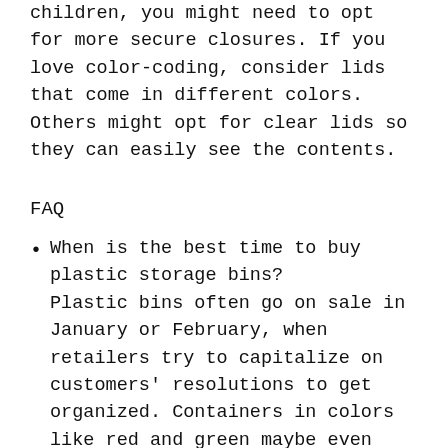children, you might need to opt for more secure closures. If you love color-coding, consider lids that come in different colors. Others might opt for clear lids so they can easily see the contents.
FAQ
When is the best time to buy plastic storage bins? Plastic bins often go on sale in January or February, when retailers try to capitalize on customers' resolutions to get organized. Containers in colors like red and green maybe even more deeply discounted at this time.